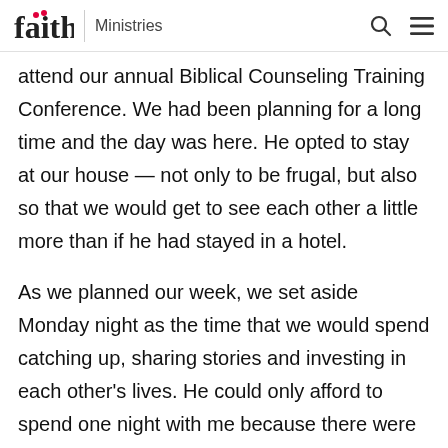faith | Ministries
attend our annual Biblical Counseling Training Conference. We had been planning for a long time and the day was here. He opted to stay at our house — not only to be frugal, but also so that we would get to see each other a little more than if he had stayed in a hotel.
As we planned our week, we set aside Monday night as the time that we would spend catching up, sharing stories and investing in each other's lives. He could only afford to spend one night with me because there were so many lives that he had impacted, so we would